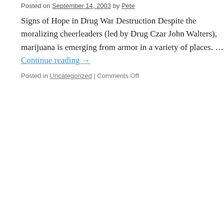Posted on September 14, 2003 by Pete
Signs of Hope in Drug War Destruction Despite the moralizing cheerleaders (led by Drug Czar John Walters), marijuana is emerging from armor in a variety of places. … Continue reading →
Posted in Uncategorized | Comments Off